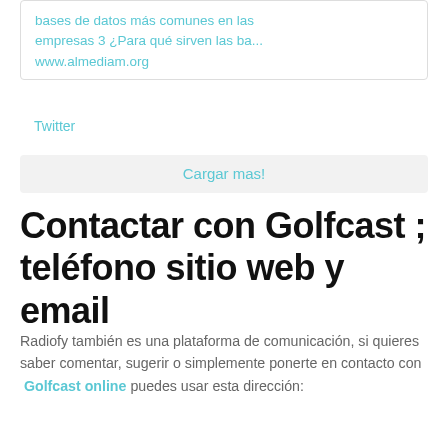bases de datos más comunes en las empresas 3 ¿Para qué sirven las ba...
www.almediam.org
Twitter
Cargar mas!
Contactar con Golfcast ; teléfono sitio web y email
Radiofy también es una plataforma de comunicación, si quieres saber comentar, sugerir o simplemente ponerte en contacto con Golfcast online puedes usar esta dirección:
Sitio web: http://www.golfcast.es/
O directamente usando este formulario de contacto con Golfcast
Nombre (obligatorio)